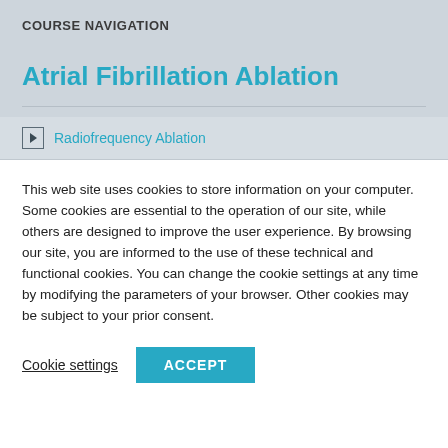COURSE NAVIGATION
Atrial Fibrillation Ablation
Radiofrequency Ablation
This web site uses cookies to store information on your computer. Some cookies are essential to the operation of our site, while others are designed to improve the user experience. By browsing our site, you are informed to the use of these technical and functional cookies. You can change the cookie settings at any time by modifying the parameters of your browser. Other cookies may be subject to your prior consent.
Cookie settings  ACCEPT